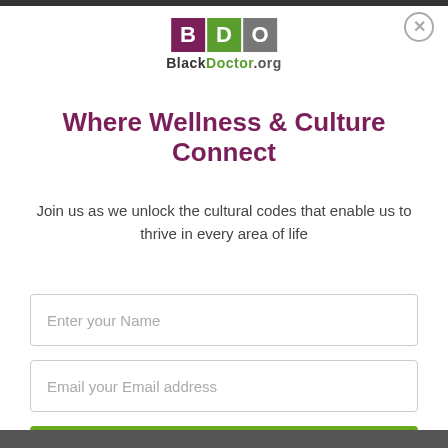[Figure (logo): BlackDoctor.org logo with BDO letters in colored boxes (purple, green, gray) and text below]
Where Wellness & Culture Connect
Join us as we unlock the cultural codes that enable us to thrive in every area of life
Enter your Name
Email your Email address
Join Today!